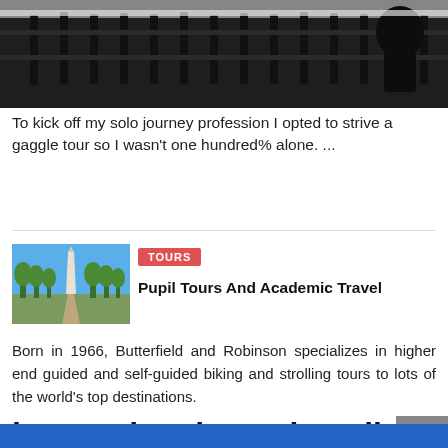[Figure (photo): Dark photo showing a wooden fence with snow and a silhouette of a person/statue in the background]
To kick off my solo journey profession I opted to strive a gaggle tour so I wasn't one hundred% alone. ...
[Figure (photo): Photo of a monument or obelisk along a tree-lined path under blue sky]
TOURS
Pupil Tours And Academic Travel
Born in 1966, Butterfield and Robinson specializes in higher end guided and self-guided biking and strolling tours to lots of the world's top destinations.
international travel medicine